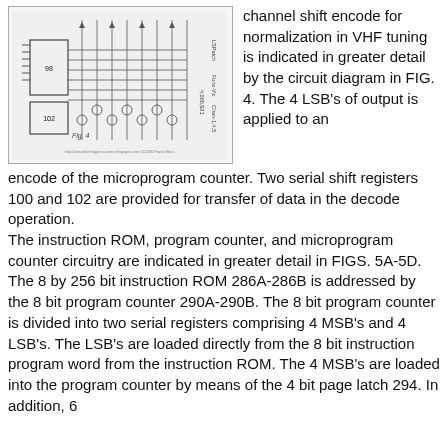[Figure (circuit-diagram): Circuit diagram labeled Fig. 4 showing a channel shift encode circuit with LSB patch, serial shift registers, and related logic components for VHF tuning normalization.]
channel shift encode for normalization in VHF tuning is indicated in greater detail by the circuit diagram in FIG. 4. The 4 LSB's of output is applied to an encode of the microprogram counter. Two serial shift registers 100 and 102 are provided for transfer of data in the decode operation.
The instruction ROM, program counter, and microprogram counter circuitry are indicated in greater detail in FIGS. 5A-5D. The 8 by 256 bit instruction ROM 286A-286B is addressed by the 8 bit program counter 290A-290B. The 8 bit program counter is divided into two serial registers comprising 4 MSB's and 4 LSB's. The LSB's are loaded directly from the 8 bit instruction program word from the instruction ROM. The 4 MSB's are loaded into the program counter by means of the 4 bit page latch 294. In addition, 6